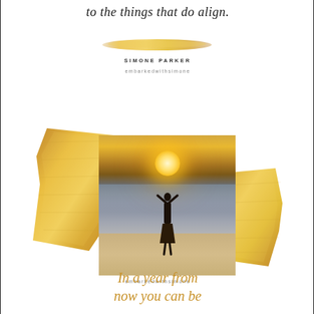to the things that do align.
[Figure (illustration): Gold brushstroke decorative element]
SIMONE PARKER
embarkedwithsimone
[Figure (photo): Person standing on a beach at sunset with arms raised, surrounded by gold foil texture decorative elements on left and right sides. The sun appears to rest between the person's raised hands.]
embarkedwithsimone
In a year from now you can be